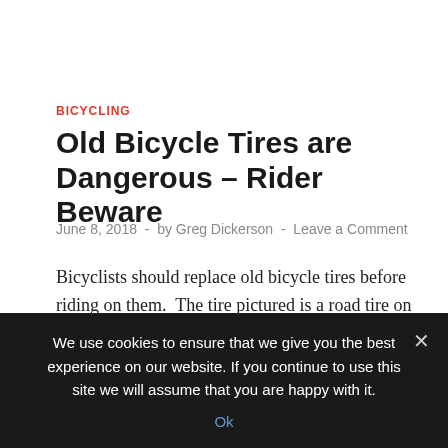BICYCLING
Old Bicycle Tires are Dangerous – Rider Beware
June 8, 2018  -  by Greg Dickerson  -  Leave a Comment
Bicyclists should replace old bicycle tires before riding on them.  The tire pictured is a road tire on a mountain bike (26" x 1.5") and looked normal, with no damage.  It still had good tread that showed  very little wear.  I pumped it up like I always do and took the bike for a ride.  I rode about
We use cookies to ensure that we give you the best experience on our website. If you continue to use this site we will assume that you are happy with it.
Ok